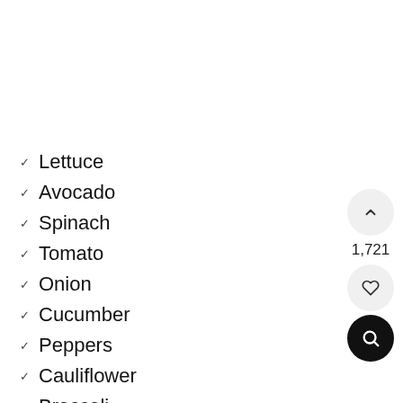✓ Lettuce
✓ Avocado
✓ Spinach
✓ Tomato
✓ Onion
✓ Cucumber
✓ Peppers
✓ Cauliflower
✓ Broccoli
✓ Brussels Sprouts
✓ Kalo